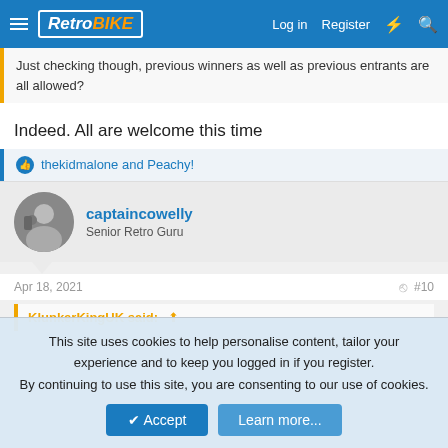RetroBIKE — Log in | Register
Just checking though, previous winners as well as previous entrants are all allowed?
Indeed. All are welcome this time
thekidmalone and Peachy!
captaincowelly
Senior Retro Guru
Apr 18, 2021  #10
KlunkerKingUK said:
This site uses cookies to help personalise content, tailor your experience and to keep you logged in if you register.
By continuing to use this site, you are consenting to our use of cookies.